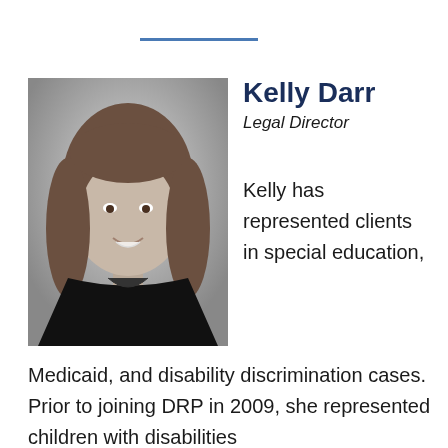[Figure (photo): Black and white professional headshot of Kelly Darr, a woman with long wavy hair, smiling, wearing a dark blazer.]
Kelly Darr
Legal Director
Kelly has represented clients in special education, Medicaid, and disability discrimination cases. Prior to joining DRP in 2009, she represented children with disabilities